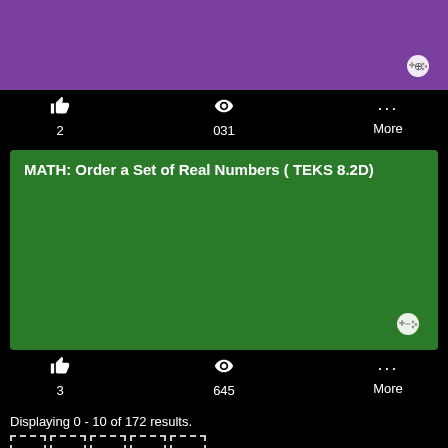[Figure (screenshot): Purple game card thumbnail with controller icon]
👍 2   👁 031   ··· More
[Figure (screenshot): Green game card with title: MATH: Order a Set of Real Numbers ( TEKS 8.2D) and controller icon]
👍 3   👁 645   ··· More
Displaying 0 - 10 of 172 results.
1  2  3  4  5  Last